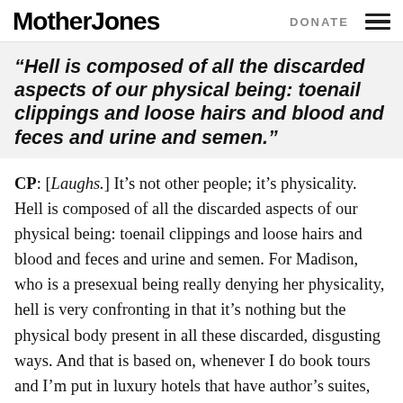Mother Jones | DONATE
“Hell is composed of all the discarded aspects of our physical being: toenail clippings and loose hairs and blood and feces and urine and semen.”
CP: [Laughs.] It’s not other people; it’s physicality. Hell is composed of all the discarded aspects of our physical being: toenail clippings and loose hairs and blood and feces and urine and semen. For Madison, who is a presexual being really denying her physicality, hell is very confronting in that it’s nothing but the physical body present in all these discarded, disgusting ways. And that is based on, whenever I do book tours and I’m put in luxury hotels that have author’s suites, I’m always